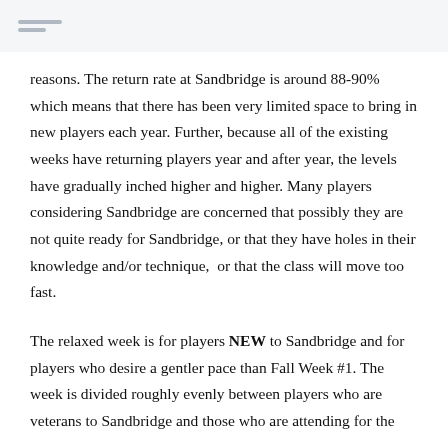reasons. The return rate at Sandbridge is around 88-90% which means that there has been very limited space to bring in new players each year. Further, because all of the existing weeks have returning players year and after year, the levels have gradually inched higher and higher. Many players considering Sandbridge are concerned that possibly they are not quite ready for Sandbridge, or that they have holes in their knowledge and/or technique,  or that the class will move too fast.
The relaxed week is for players NEW to Sandbridge and for players who desire a gentler pace than Fall Week #1. The week is divided roughly evenly between players who are veterans to Sandbridge and those who are attending for the